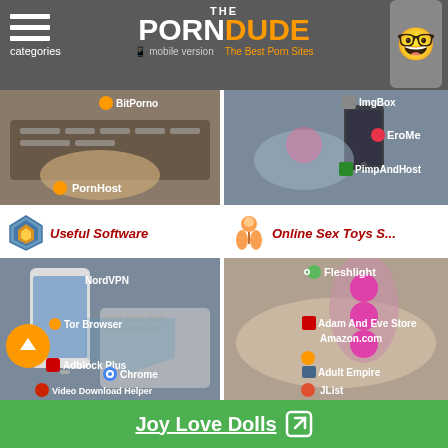[Figure (screenshot): The Porn Dude website header with logo, categories menu, mobile version link, and mascot character]
[Figure (screenshot): Screenshot of website content showing image thumbnails for PornHost, EroMe, PimpAndHost, BitPorno, ImgBox categories]
Useful Software
Online Sex Toys S...
[Figure (screenshot): Software category thumbnails showing NordVPN, Tor Browser, Adblock Plus, Chrome, Video Download Helper]
[Figure (screenshot): Online sex toys thumbnails showing Fleshlight, Adam And Eve Store, Amazon.com, Adult Empire, JList]
Joy Love Dolls